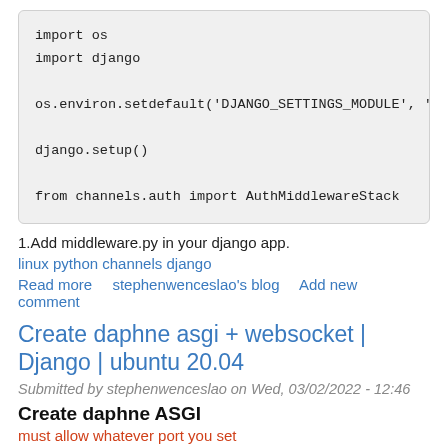import os
import django

os.environ.setdefault('DJANGO_SETTINGS_MODULE', 'mya

django.setup()

from channels.auth import AuthMiddlewareStack
1.Add middleware.py in your django app.
linux python channels django
Read more    stephenwenceslao's blog    Add new comment
Create daphne asgi + websocket | Django | ubuntu 20.04
Submitted by stephenwenceslao on Wed, 03/02/2022 - 12:46
Create daphne ASGI
must allow whatever port you set